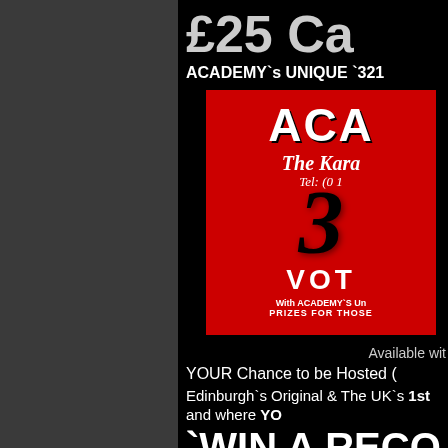£25 Ca
ACADEMY`s UNIQUE `321
[Figure (illustration): Red promotional card for ACADEMY Karaoke venue showing 'ACA' text at top with marquee-style letters, 'The Kara' subtitle, telephone number, large number '3', 'VOT' text, 'With ACADEMY`S Un' and 'PRIZES FOR THOSE']
Available with
YOUR Chance to be Hosted (
Edinburgh`s Original & The UK`s 1st
and where YOU
`WIN A RECO